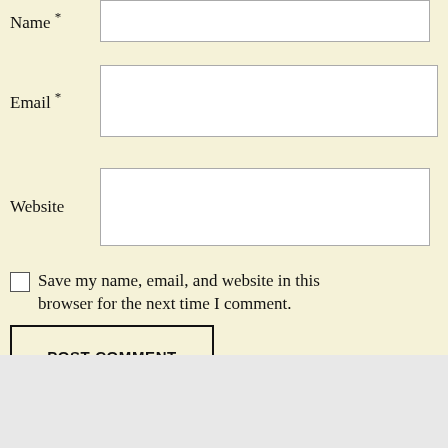Name *
Email *
Website
Save my name, email, and website in this browser for the next time I comment.
POST COMMENT
Advertisements
[Figure (screenshot): DuckDuckGo advertisement banner: 'Search, browse, and email with more privacy. All in One Free App' with DuckDuckGo logo on dark background]